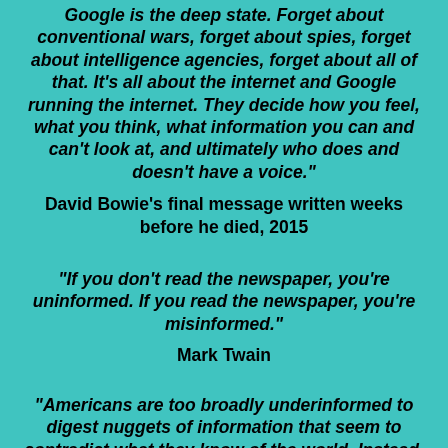"Google is the deep state. Forget about conventional wars, forget about spies, forget about intelligence agencies, forget about all of that. It's all about the internet and Google running the internet. They decide how you feel, what you think, what information you can and can't look at, and ultimately who does and doesn't have a voice."
David Bowie's final message written weeks before he died, 2015
"If you don't read the newspaper, you're uninformed. If you read the newspaper, you're misinformed."
Mark Twain
"Americans are too broadly underinformed to digest nuggets of information that seem to contradict what they know of the world. Instead, news channels prefer to feed Americans a constant stream of simplified information, all of which fits what they already know..."